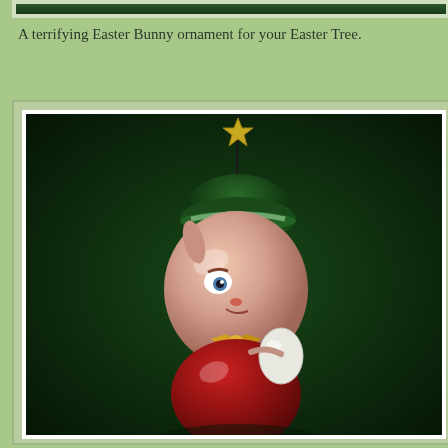[Figure (photo): Top portion of a previous image showing a dark green background, partially cropped at the top of the page.]
A terrifying Easter Bunny ornament for your Easter Tree.
[Figure (photo): A glass Easter Bunny ornament hanging against a dark green velvet background. The ornament depicts a bunny character with a green hat, white and pink face with exaggerated features, a gold bow tie, and a red body. It has a gold star-shaped hanger at the top.]